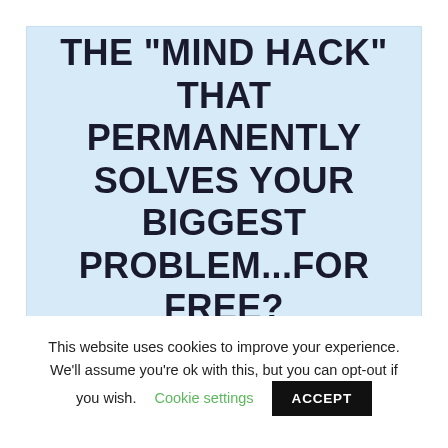THE "MIND HACK" THAT PERMANENTLY SOLVES YOUR BIGGEST PROBLEM...FOR FREE?
This website uses cookies to improve your experience. We'll assume you're ok with this, but you can opt-out if you wish. Cookie settings ACCEPT